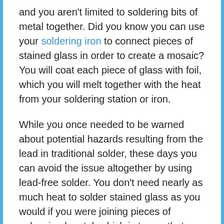and you aren't limited to soldering bits of metal together. Did you know you can use your soldering iron to connect pieces of stained glass in order to create a mosaic? You will coat each piece of glass with foil, which you will melt together with the heat from your soldering station or iron.
While you once needed to be warned about potential hazards resulting from the lead in traditional solder, these days you can avoid the issue altogether by using lead-free solder. You don't need nearly as much heat to solder stained glass as you would if you were joining pieces of galvanized metal, which is to say that soldering irons for working with stained glass are more affordable. Keep in mind that a hundred-Watt soldering iron is ideal for working with stained